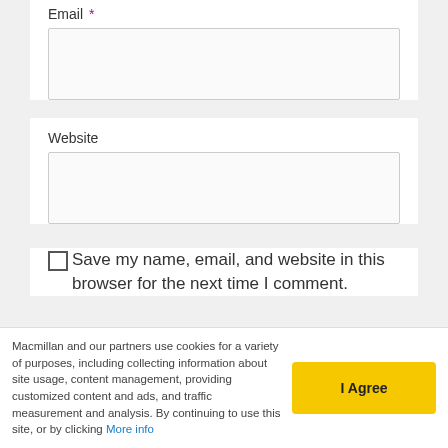Email *
Website
Save my name, email, and website in this browser for the next time I comment.
Post Comment
Search the Blog
Macmillan and our partners use cookies for a variety of purposes, including collecting information about site usage, content management, providing customized content and ads, and traffic measurement and analysis. By continuing to use this site, or by clicking More info